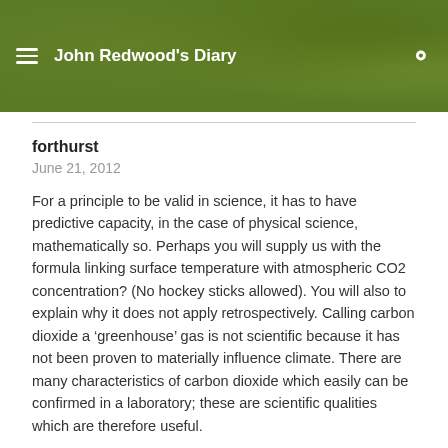John Redwood's Diary
forthurst
June 21, 2012
For a principle to be valid in science, it has to have predictive capacity, in the case of physical science, mathematically so. Perhaps you will supply us with the formula linking surface temperature with atmospheric CO2 concentration? (No hockey sticks allowed). You will also to explain why it does not apply retrospectively. Calling carbon dioxide a ‘greenhouse’ gas is not scientific because it has not been proven to materially influence climate. There are many characteristics of carbon dioxide which easily can be confirmed in a laboratory; these are scientific qualities which are therefore useful.